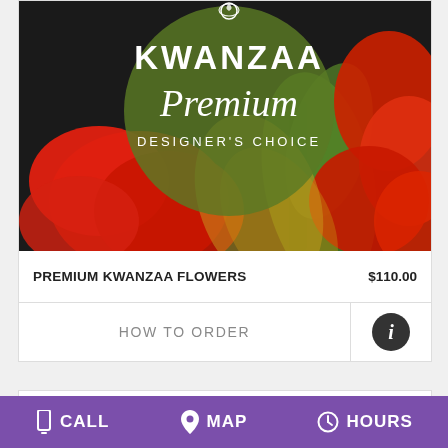[Figure (photo): Kwanzaa Premium Designer's Choice floral arrangement product image with red flowers and green stem on dark background with olive green circular overlay showing text 'KWANZAA Premium DESIGNER'S CHOICE']
PREMIUM KWANZAA FLOWERS   $110.00
HOW TO ORDER
[Figure (photo): Close-up of red poinsettia or similar red flowers, partially visible at bottom of page]
CALL   MAP   HOURS